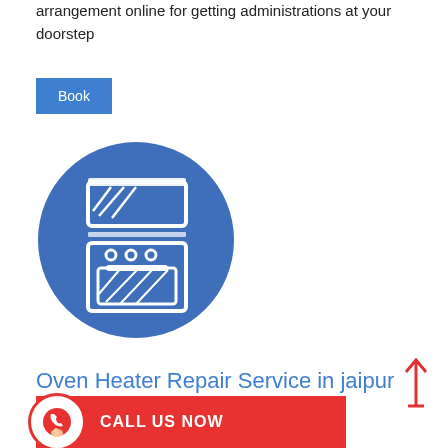arrangement online for getting administrations at your doorstep
Book
[Figure (illustration): White oven/stove icon on a blue circle background — shows a stove with oven, burners, and window on oven door]
Oven Heater Repair Service in jaipur
en Repair Service is not working , you orm and resolve Double Oven Repair
[Figure (infographic): Red call-to-action banner with phone icon circle and text CALL US NOW]